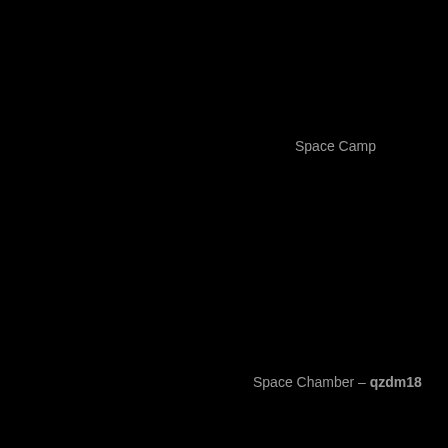Space Camp
Space Chamber – qzdm18